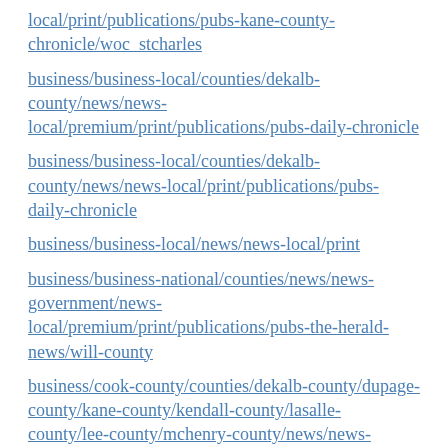local/print/publications/pubs-kane-county-chronicle/woc_stcharles
business/business-local/counties/dekalb-county/news/news-local/premium/print/publications/pubs-daily-chronicle
business/business-local/counties/dekalb-county/news/news-local/print/publications/pubs-daily-chronicle
business/business-local/news/news-local/print
business/business-national/counties/news/news-government/news-local/premium/print/publications/pubs-the-herald-news/will-county
business/cook-county/counties/dekalb-county/dupage-county/kane-county/kendall-county/lasalle-county/lee-county/mchenry-county/news/news-local/print/whiteside-county/will-county